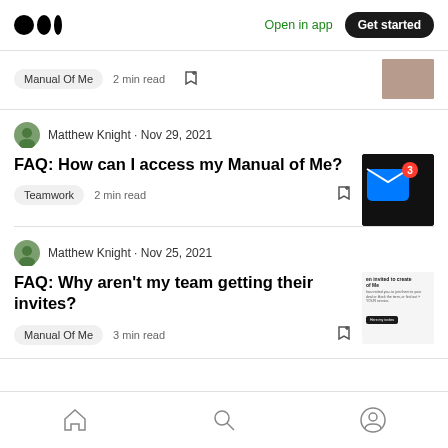Medium logo | Open in app | Get started
Manual Of Me · 2 min read
Matthew Knight · Nov 29, 2021
FAQ: How can I access my Manual of Me?
Teamwork  2 min read
Matthew Knight · Nov 25, 2021
FAQ: Why aren't my team getting their invites?
Manual Of Me  3 min read
Home | Search | Profile